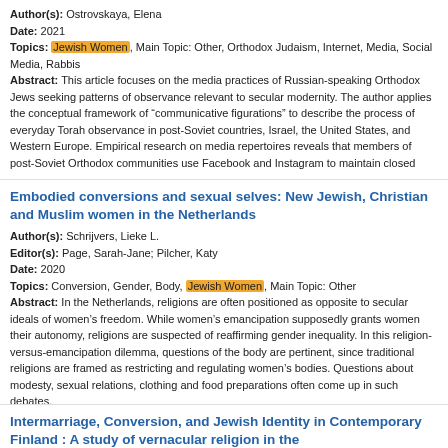Author(s): Ostrovskaya, Elena
Date: 2021
Topics: Jewish Women, Main Topic: Other, Orthodox Judaism, Internet, Media, Social Media, Rabbis
Abstract: This article focuses on the media practices of Russian-speaking Orthodox Jews seeking patterns of observance relevant to secular modernity. The author applies the conceptual framework of "communicative figurations" to describe the process of everyday Torah observance in post-Soviet countries, Israel, the United States, and Western Europe. Empirical research on media repertoires reveals that members of post-Soviet Orthodox communities use Facebook and Instagram to maintain closed
Embodied conversions and sexual selves: New Jewish, Christian and Muslim women in the Netherlands
Author(s): Schrijvers, Lieke L.
Editor(s): Page, Sarah-Jane; Pilcher, Katy
Date: 2020
Topics: Conversion, Gender, Body, Jewish Women, Main Topic: Other
Abstract: In the Netherlands, religions are often positioned as opposite to secular ideals of women's freedom. While women's emancipation supposedly grants women their autonomy, religions are suspected of reaffirming gender inequality. In this religion-versus-emancipation dilemma, questions of the body are pertinent, since traditional religions are framed as restricting and regulating women's bodies. Questions about modesty, sexual relations, clothing and food preparations often come up in such debates.
Intermarriage, Conversion, and Jewish Identity in Contemporary Finland : A study of vernacular religion in the